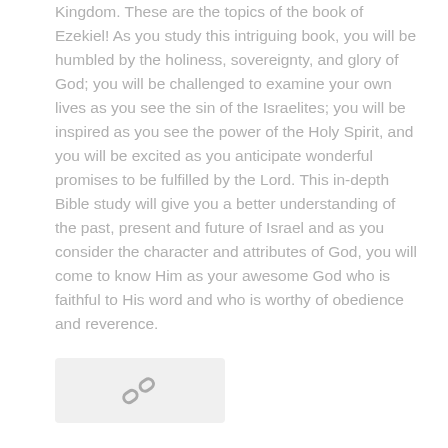Kingdom. These are the topics of the book of Ezekiel! As you study this intriguing book, you will be humbled by the holiness, sovereignty, and glory of God; you will be challenged to examine your own lives as you see the sin of the Israelites; you will be inspired as you see the power of the Holy Spirit, and you will be excited as you anticipate wonderful promises to be fulfilled by the Lord. This in-depth Bible study will give you a better understanding of the past, present and future of Israel and as you consider the character and attributes of God, you will come to know Him as your awesome God who is faithful to His word and who is worthy of obedience and reverence.
[Figure (other): A small link/chain icon inside a light grey rounded rectangle box]